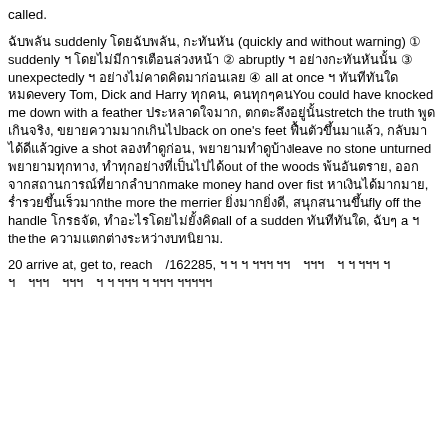called.
ฉับพลัน suddenly โดยฉับพลัน, กะทันหัน (quickly and without warning) ① suddenly ฯ โดยไม่มีการเตือนล่วงหน้า ② abruptly ฯ อย่างกะทันหันนั้น ③ unexpectedly ฯ อย่างไม่คาดคิดมาก่อนเลย ④ all at once ฯ ทันทีทันใดหมดevery Tom, Dick and Harry ทุกคน, คนทุกๆคนYou could have knocked me down with a feather ประหลาดใจมาก, ตกตะลึงอยู่นั้นstretch the truth พูดเกินจริง, ขยายความมากเกินไปback on one's feet ฟื้นตัวขึ้นมาแล้ว, กลับมาได้ดีแล้วgive a shot ลองทำดูก่อน, พยายามทำดูบ้างleave no stone unturned พยายามทุกทาง, ทำทุกอย่างที่เป็นไปได้out of the woods พ้นอันตราย, ออกจากสถานการณ์ที่ยากลำบากmake money hand over fist หาเงินได้มากมาย, ร่ำรวยขึ้นเร็วมากthe more the merrier ยิ่งมากยิ่งดี, สนุกสนานขึ้นfly off the handle โกรธจัด, ทำอะไรโดยไม่ยั้งคิดall of a sudden ทันทีทันใด, ฉับๆ a ฯ thethe ความแตกต่างระหว่างบทนิยาม.
20 arrive at, get to, reach　/162285, ฯ ฯ ฯ ฯฯฯ ฯฯ　ฯฯฯ　ฯ ฯ ฯฯฯ ฯ
ฯ　ฯฯฯ　ฯฯฯ　ฯ ฯ ฯฯฯ ฯ ฯฯฯ ฯฯฯฯฯ